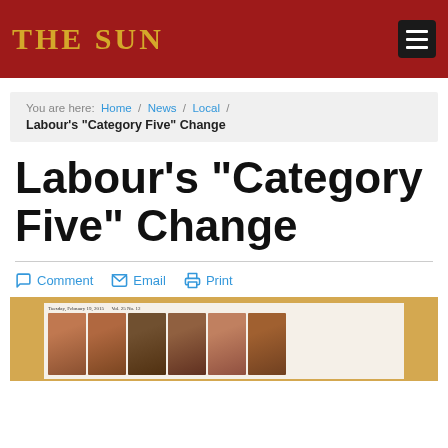THE SUN
You are here: Home / News / Local / Labour's "Category Five" Change
Labour's "Category Five" Change
Comment  Email  Print
[Figure (photo): Newspaper front page with photographs of several people wearing red clothing, dated Tuesday, February 19, 2015, Vol. 25 No. 12]